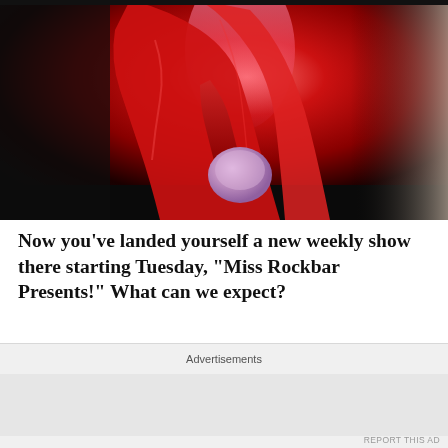[Figure (photo): A person wearing a dramatic red satin gown or cape with red gloves, holding a lavender/purple round purse/clutch. The background is dark. Only the torso and lower body are visible. There is a curtain visible on the right side.]
Now you’ve landed yourself a new weekly show there starting Tuesday, “Miss Rockbar Presents!” What can we expect?
They only briefly fragment the connection by force of the...
Advertisements
REPORT THIS AD